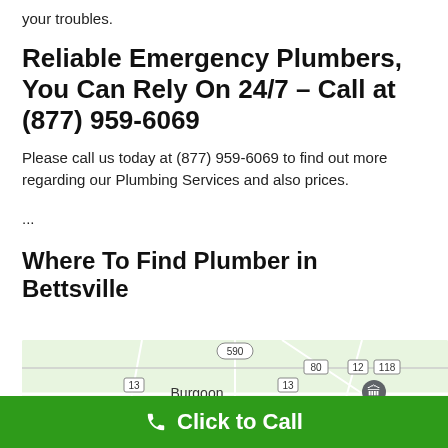your troubles.
Reliable Emergency Plumbers, You Can Rely On 24/7 – Call at (877) 959-6069
Please call us today at (877) 959-6069 to find out more regarding our Plumbing Services and also prices.
...
Where To Find Plumber in Bettsville
[Figure (map): Google Maps showing area around Burgoon and Mull Covered Bridge, with route numbers 590, 80, 13, 12, 118, 635, 86, 7, 62, 1 visible.]
Click to Call